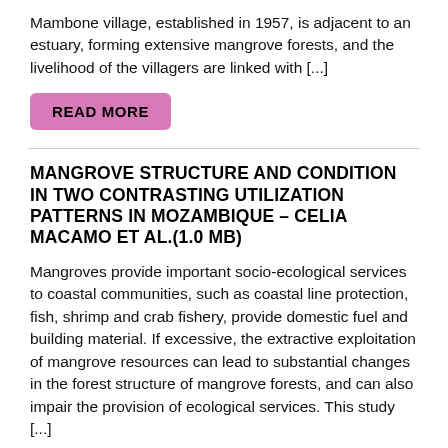Mambone village, established in 1957, is adjacent to an estuary, forming extensive mangrove forests, and the livelihood of the villagers are linked with [...]
READ MORE
MANGROVE STRUCTURE AND CONDITION IN TWO CONTRASTING UTILIZATION PATTERNS IN MOZAMBIQUE – CELIA MACAMO ET AL.(1.0 MB)
Mangroves provide important socio-ecological services to coastal communities, such as coastal line protection, fish, shrimp and crab fishery, provide domestic fuel and building material. If excessive, the extractive exploitation of mangrove resources can lead to substantial changes in the forest structure of mangrove forests, and can also impair the provision of ecological services. This study [...]
READ MORE